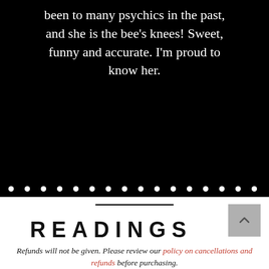been to many psychics in the past, and she is the bee's knees! Sweet, funny and accurate. I'm proud to know her.
[Figure (other): Navigation dots row at bottom of black testimonial carousel panel]
READINGS
Refunds will not be given. Please review our policy on cancellations and refunds before purchasing.